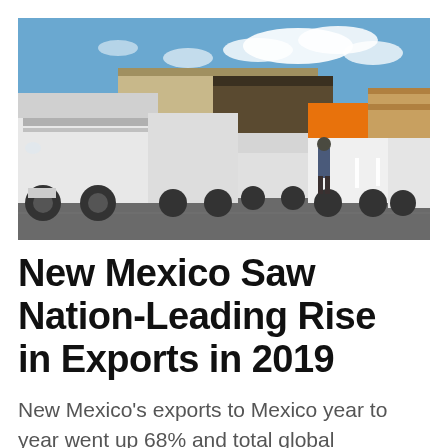[Figure (photo): Outdoor photo of a truck freight yard with multiple large semi-trucks and a white van parked in a lot, a person walking in the foreground, a warehouse building and blue sky with clouds in the background.]
New Mexico Saw Nation-Leading Rise in Exports in 2019
New Mexico's exports to Mexico year to year went up 68% and total global